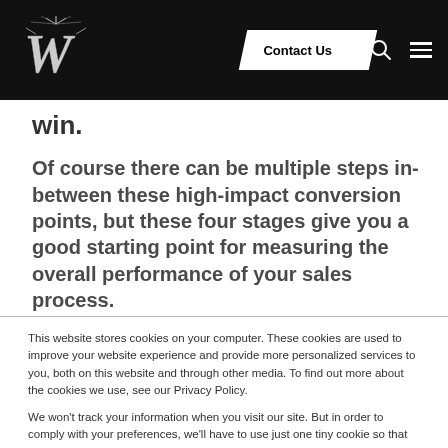Contact Us
win.
Of course there can be multiple steps in-between these high-impact conversion points, but these four stages give you a good starting point for measuring the overall performance of your sales process.
This website stores cookies on your computer. These cookies are used to improve your website experience and provide more personalized services to you, both on this website and through other media. To find out more about the cookies we use, see our Privacy Policy.
We won't track your information when you visit our site. But in order to comply with your preferences, we'll have to use just one tiny cookie so that you're not asked to make this choice again.